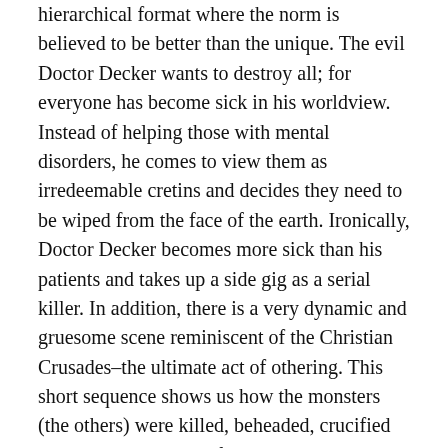hierarchical format where the norm is believed to be better than the unique. The evil Doctor Decker wants to destroy all; for everyone has become sick in his worldview. Instead of helping those with mental disorders, he comes to view them as irredeemable cretins and decides they need to be wiped from the face of the earth. Ironically, Doctor Decker becomes more sick than his patients and takes up a side gig as a serial killer. In addition, there is a very dynamic and gruesome scene reminiscent of the Christian Crusades–the ultimate act of othering. This short sequence shows us how the monsters (the others) were killed, beheaded, crucified and burned due to the fact that they did not look like the majority. They were driven underground and eventually rebuilt their own society away from the judging eyes of the “naturals” living in the sunlight. The monsters progress to build their own culture. The monsters living in